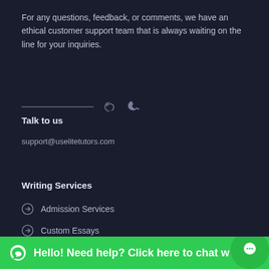For any questions, feedback, or comments, we have an ethical customer support team that is always waiting on the line for your inquiries.
Talk to us
support@uselitetutors.com
Writing Services
Admission Services
Custom Essays
Term Papers
Case Studies
Research Proposals
Dissertation Services
Hello! Need help? Click here to chat w... a w